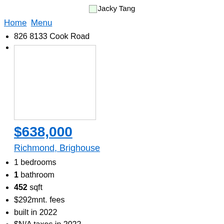Jacky Tang
Home Menu
826 8133 Cook Road
[Figure (photo): Property image placeholder box]
$638,000
Richmond, Brighouse
1 bedrooms
1 bathroom
452 sqft
$292mnt. fees
built in 2022
$N/A taxes in 2022
Apartment
R2699023
Description